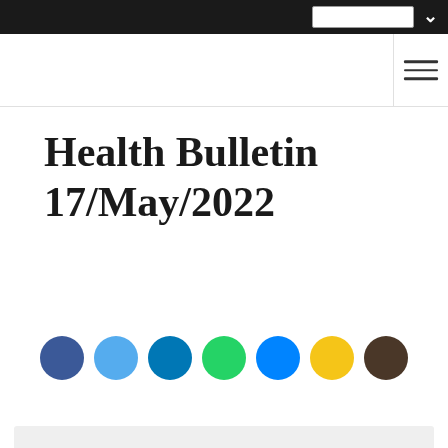Health Bulletin 17/May/2022
Health Bulletin 17/May/2022
[Figure (other): Social media sharing icons: Facebook (dark blue), Twitter (light blue), LinkedIn (blue), WhatsApp (green), Messenger (blue), Email/star (yellow), another icon (dark brown)]